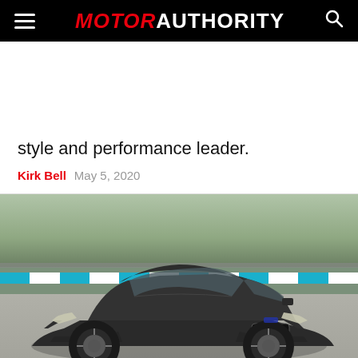MOTOR AUTHORITY
style and performance leader.
Kirk Bell   May 5, 2020
[Figure (photo): Dark gray BMW M8 coupe on a racing track with blue and white barriers in background, grass and trees visible, overcast sky]